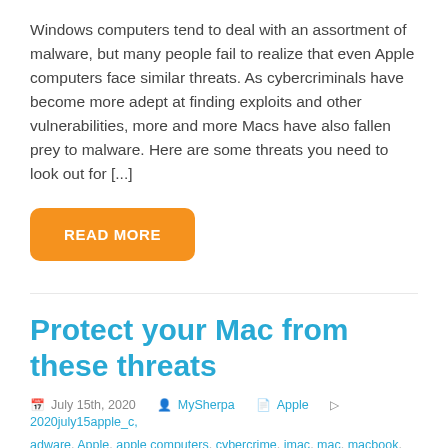Windows computers tend to deal with an assortment of malware, but many people fail to realize that even Apple computers face similar threats. As cybercriminals have become more adept at finding exploits and other vulnerabilities, more and more Macs have also fallen prey to malware. Here are some threats you need to look out for [...]
READ MORE
Protect your Mac from these threats
July 15th, 2020  MySherpa  Apple  2020july15apple_c, adware, Apple, apple computers, cybercrime, imac, mac, macbook, macos, malware, ransomware, viruses